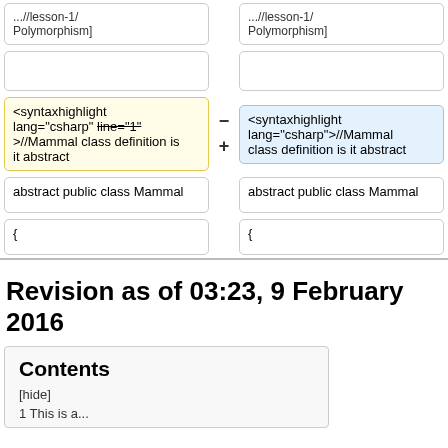...//lesson-1/
Polymorphism]
...//lesson-1/
Polymorphism]
(empty cell left)
(empty cell right)
<syntaxhighlight lang="csharp" line="1">//Mammal class definition is it abstract
<syntaxhighlight lang="csharp">//Mammal class definition is it abstract
abstract public class Mammal
abstract public class Mammal
{
{
Revision as of 03:23, 9 February 2016
Contents
[hide]
1 This is a...